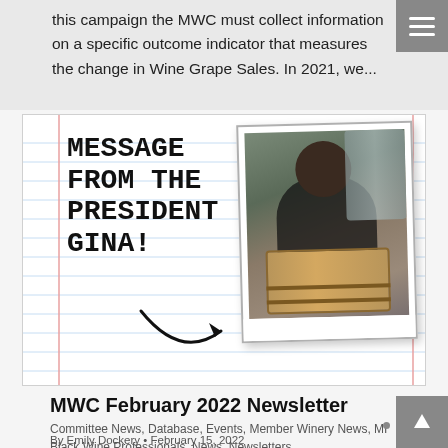this campaign the MWC must collect information on a specific outcome indicator that measures the change in Wine Grape Sales.  In 2021, we...
[Figure (illustration): Notepad-style graphic with handwritten-style text reading MESSAGE FROM THE PRESIDENT GINA! with an arrow pointing to a polaroid photo of a woman working at a wine barrel in a winery]
MWC February 2022 Newsletter
Committee News, Database, Events, Member Winery News, MI Black Wine Professionals, News, Newsletters
By Emily Dockery • February 15, 2022